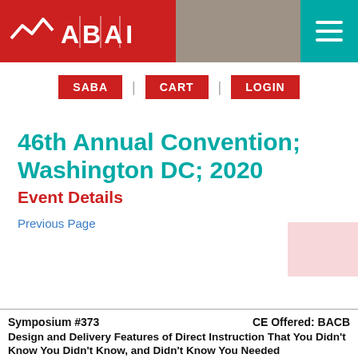ABAI logo and navigation menu
SABA | CART | LOGIN
46th Annual Convention; Washington DC; 2020
Event Details
Previous Page
Symposium #373	CE Offered: BACB
Design and Delivery Features of Direct Instruction That You Didn't Know You Didn't Know, and Didn't Know You Needed